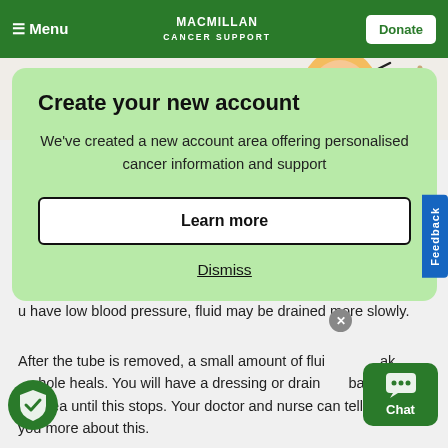Menu | MACMILLAN CANCER SUPPORT | Donate
[Figure (illustration): Partial illustration of a person eating or drinking, shown at the top of the page behind the modal dialog]
Create your new account
We've created a new account area offering personalised cancer information and support
Learn more
Dismiss
s, but this
ned
u have low blood pressure, fluid may be drained more slowly.
After the tube is removed, a small amount of fluid may leak as the hole heals. You will have a dressing or drainage bag over the area until this stops. Your doctor and nurse can tell you more about this.